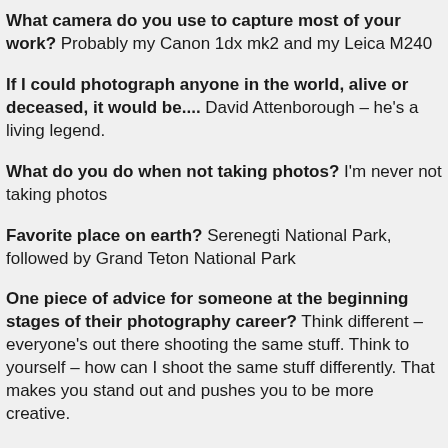What camera do you use to capture most of your work? Probably my Canon 1dx mk2 and my Leica M240
If I could photograph anyone in the world, alive or deceased, it would be.... David Attenborough – he's a living legend.
What do you do when not taking photos? I'm never not taking photos
Favorite place on earth? Serenegti National Park, followed by Grand Teton National Park
One piece of advice for someone at the beginning stages of their photography career? Think different – everyone's out there shooting the same stuff. Think to yourself – how can I shoot the same stuff differently. That makes you stand out and pushes you to be more creative.